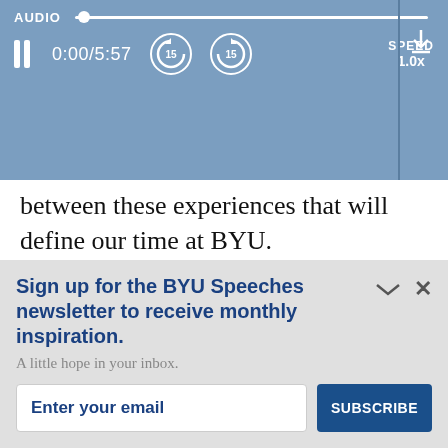[Figure (screenshot): Audio player bar with play/pause controls, time display 0:00/5:57, skip back/forward 15s buttons, speed control at 1.0x, and download button]
between these experiences that will define our time at BYU.
These experiences have deepened my understanding of BYU's goal for us to bec...
Sign up for the BYU Speeches newsletter to receive monthly inspiration.
A little hope in your inbox.
Enter your email
SUBSCRIBE